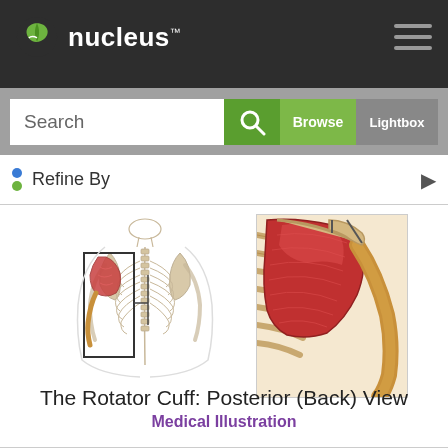nucleus
Search | Browse | Lightbox
Refine By
[Figure (illustration): Medical illustration of the rotator cuff posterior (back) view showing skeletal anatomy with highlighted shoulder muscles. Left panel shows full posterior skeleton with shoulder region boxed; right panel shows zoomed view of the rotator cuff muscles in red over bone anatomy.]
The Rotator Cuff: Posterior (Back) View
Medical Illustration